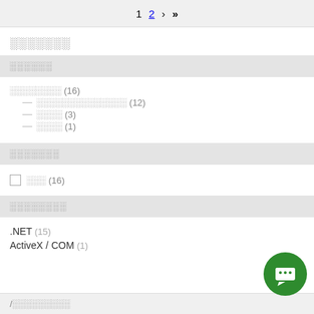1  2  ›  »
░░░░░░░
░░░░░░
░░░░░░░░ (16)
░░░░░░░░░░░░░░ (12)
░░░░ (3)
░░░░ (1)
░░░░░░░
░░░ (16)
░░░░░░░░
.NET (15)
ActiveX / COM (1)
/░░░░░░░░░